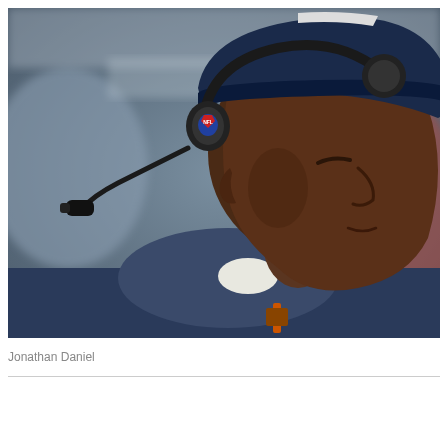[Figure (photo): Side profile of an NFL coach (African American man) wearing a navy Chicago Bears beanie hat, NFL-branded headset/headphones and microphone, dark navy jacket. His head is bowed slightly downward. Background is blurred stadium sideline colors of blue, grey, and red.]
Jonathan Daniel